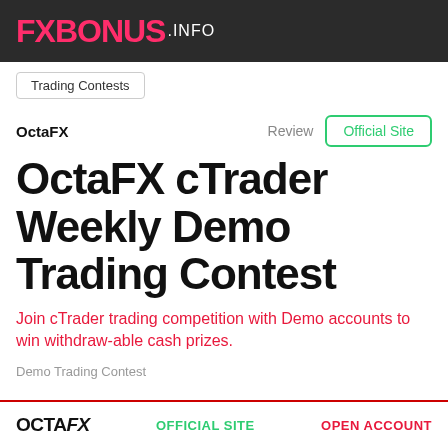FXBONUS.INFO
Trading Contests
OctaFX
Review
Official Site
OctaFX cTrader Weekly Demo Trading Contest
Join cTrader trading competition with Demo accounts to win withdraw-able cash prizes.
Demo Trading Contest
OCTAFX   OFFICIAL SITE   OPEN ACCOUNT